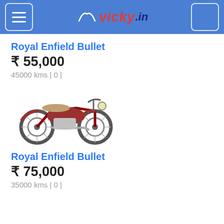vicky.in
Royal Enfield Bullet
₹ 55,000
45000 kms | 0 |
[Figure (photo): Red Royal Enfield Bullet motorcycle, side view]
Royal Enfield Bullet
₹ 75,000
35000 kms | 0 |